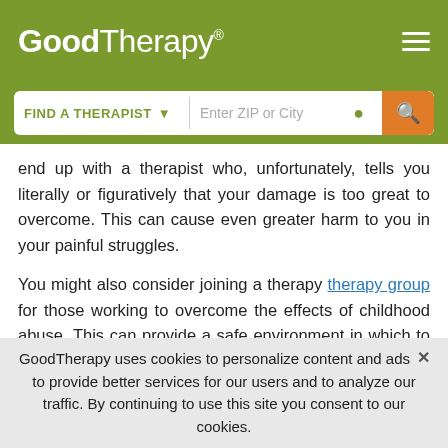GoodTherapy®
FIND A THERAPIST  Enter ZIP or City
end up with a therapist who, unfortunately, tells you literally or figuratively that your damage is too great to overcome. This can cause even greater harm to you in your painful struggles.
You might also consider joining a therapy therapy group for those working to overcome the effects of childhood abuse. This can provide a safe environment in which to learn about the lasting effects of abuse and to learn ways in which to overcome these effects. A therapy group can offer a place in
GoodTherapy uses cookies to personalize content and ads to provide better services for our users and to analyze our traffic. By continuing to use this site you consent to our cookies.